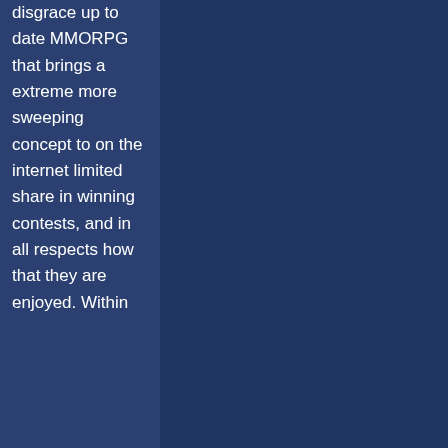disgrace up to date MMORPG that brings a extreme more sweeping concept to on the internet limited share in winning contests, and in all respects how that they are enjoyed. Within